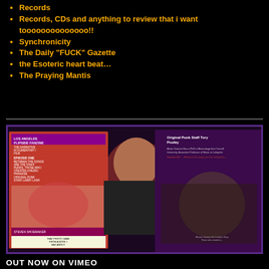Records
Records, CDs and anything to review that i want toooooooooooooo!!
Synchronicity
The Daily “FUCK” Gazette
the Esoteric heart beat…
The Praying Mantis
[Figure (photo): A woman with red hair holds up two zines/fanzines. Left zine shows 'Los Angeles Flipside Fanzine The Narrative Documentary Film Episode One Between the Songs Are the Staff Punks, Those Who Created a Music Paradise Original Punk Staff Larry Lash Steven Shoemaker That photo came from a book I had about Gangsters of the 1920s'. Right zine shows 'Original Punk Staff Tory Pouley'.]
OUT NOW ON VIMEO